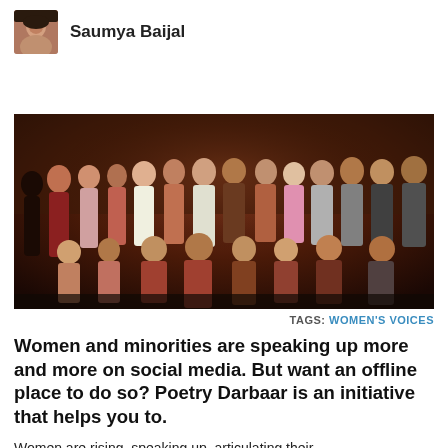[Figure (photo): Small circular/square avatar photo of author Saumya Baijal]
Saumya Baijal
[Figure (photo): Group photo of approximately 25 people, men and women, standing and sitting in what appears to be an indoor dimly lit venue. The photo has warm brownish tones.]
TAGS: WOMEN'S VOICES
Women and minorities are speaking up more and more on social media. But want an offline place to do so? Poetry Darbaar is an initiative that helps you to.
Women are rising, speaking up, articulating their